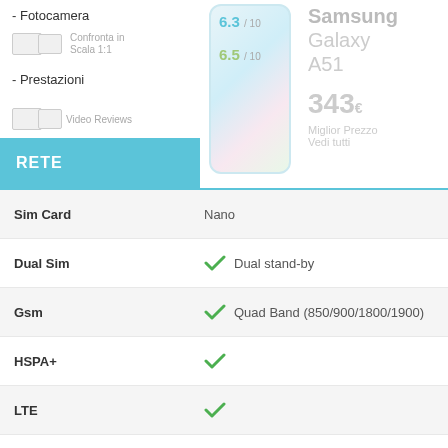- Fotocamera
Confronta in Scala 1:1
- Prestazioni
Video Reviews
RETE
[Figure (screenshot): Samsung Galaxy A51 smartphone image with scores 6.3/10 and 6.5/10 overlaid]
Samsung Galaxy A51
343 € Miglior Prezzo Vedi tutti
| Feature | Value |
| --- | --- |
| Sim Card | Nano |
| Dual Sim | ✓ Dual stand-by |
| Gsm | ✓ Quad Band (850/900/1800/1900) |
| HSPA+ | ✓ |
| LTE | ✓ |
| 5G | ✗ |
| Max Download Speed | 600 Mbps |